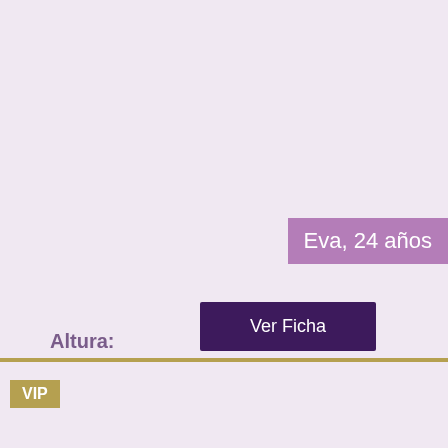Eva, 24 años
Altura: 180 cm
PESO: 52 kg
PECHO: 80
1 HORA: 140€
Services: Francés completo
Anal: + 70€
Ver Ficha
VIP